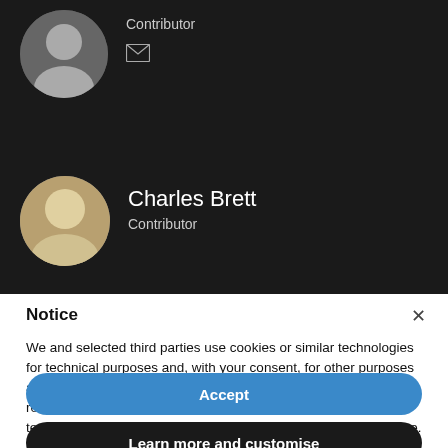[Figure (photo): Circular avatar of a person (first contributor) on dark background]
Contributor
[Figure (other): Email envelope icon]
[Figure (photo): Circular avatar of Charles Brett on dark background]
Charles Brett
Contributor
Notice
We and selected third parties use cookies or similar technologies for technical purposes and, with your consent, for other purposes as specified in the cookie policy. Denying consent may make related features unavailable. You can consent to the use of such technologies by using the “Accept” button or by closing this notice.
Accept
Learn more and customise